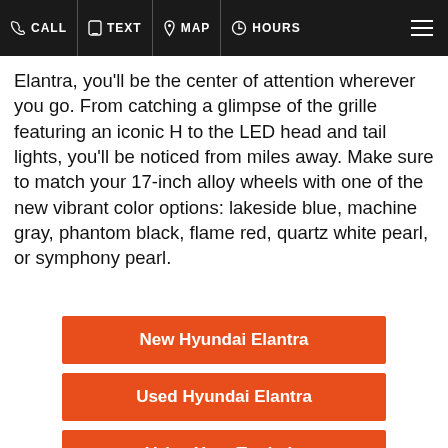CALL  TEXT  MAP  HOURS
Elantra, you'll be the center of attention wherever you go. From catching a glimpse of the grille featuring an iconic H to the LED head and tail lights, you'll be noticed from miles away. Make sure to match your 17-inch alloy wheels with one of the new vibrant color options: lakeside blue, machine gray, phantom black, flame red, quartz white pearl, or symphony pearl.
New Hyundai Elantra
Used Hyundai Elantra
Value Your Trade-In
[Figure (photo): Interior of a Hyundai Elantra showing the driver seat headrest and steering wheel with a dealership or parking structure visible through the windows.]